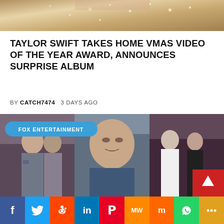[Figure (photo): Top portion of a person in a sparkly/sequined outfit, cropped]
TAYLOR SWIFT TAKES HOME VMAS VIDEO OF THE YEAR AWARD, ANNOUNCES SURPRISE ALBUM
BY CATCH7474   3 DAYS AGO
[Figure (photo): Collage of three celebrity photos with 'FOX ENTERTAINMENT' badge. Left: Angelina Jolie and someone in a patterned shirt. Center: Sylvester Stallone in a blue suit. Right: Johnny Depp and Winona Ryder in black and white outfits.]
f  Twitter  Reddit  in  Pinterest  MW  Mix  WhatsApp  Share